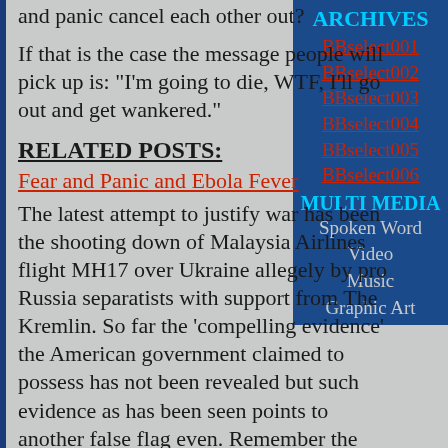and panic cancel each other out?
If that is the case the message people will pick up is: "I'm going to die, WTF, I'll go out and get wankered."
RELATED POSTS:
Fear and Panic and Ebola Fever
The latest attempt to justify war has been the shooting down of Malaysia Airlines flight MH17 over Ukraine allegely by pro Russia separatists with support from The Kremlin. So far the 'compelling evidence' the American government claimed to possess has not been revealed but such evidence as has been seen points to another false flag even. Remember the Swine Flu pandemic?They're doing it again
ARCHIVES
BBselect001
BBselect002
BBselect003
BBselect004
BBselect005
BBselect006
MULTI MEDIA
Spoken Word
Video
Music
Graphic Art